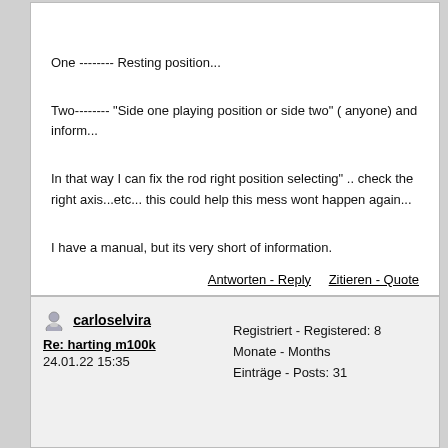One -------- Resting position...
Two-------- "Side one playing position or side two" ( anyone) and inform...
In that way I can fix the rod right position selecting" .. check the right axis...etc... this could help this mess wont happen again...
I have a manual, but its very short of information.
Antworten - Reply    Zitieren - Quote
carloselvira
Re: harting m100k
24.01.22 15:35
Registriert - Registered: 8 Monate - Months
Einträge - Posts: 31